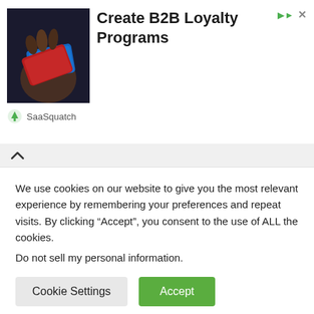[Figure (screenshot): Advertisement banner showing a hand holding credit cards over a dark background, with 'Create B2B Loyalty Programs' headline, a green 'Open' button, and SaaSquatch branding below.]
[Figure (photo): Partially visible top image of a person holding papers or documents, used as article header image.]
Research Rheumatoid Arthritis Medication
Rheumatoid Arthritis Treatment | Yahoo Search
[Figure (photo): Aerial photo of a port or harbor with cranes and ships, partially visible.]
We use cookies on our website to give you the most relevant experience by remembering your preferences and repeat visits. By clicking “Accept”, you consent to the use of ALL the cookies.
Do not sell my personal information.